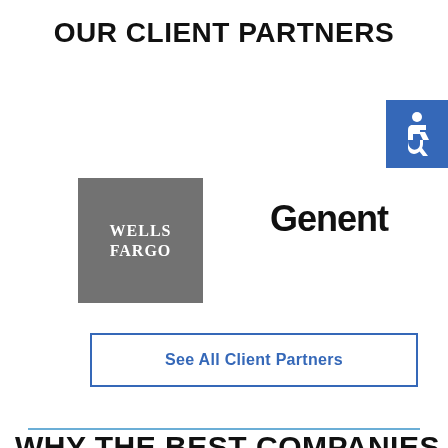OUR CLIENT PARTNERS
[Figure (logo): Accessibility icon - wheelchair symbol in white on blue square background]
[Figure (logo): Wells Fargo logo - white text on gray square background]
[Figure (logo): Genentech logo - 'Genent' text in dark gray bold font]
See All Client Partners
WHY THE BEST COMPANIES HIRE ODYSSEY TEAMS